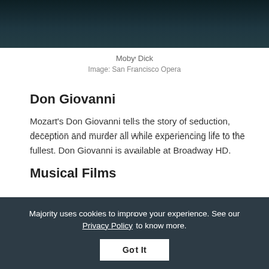[Figure (photo): Dark atmospheric image at the top of the page, likely a scene from Moby Dick opera production]
Moby Dick
Image: San Francisco Opera
Don Giovanni
Mozart's Don Giovanni tells the story of seduction, deception and murder all while experiencing life to the fullest. Don Giovanni is available at Broadway HD.
Musical Films
Majority uses cookies to improve your experience. See our Privacy Policy to know more.